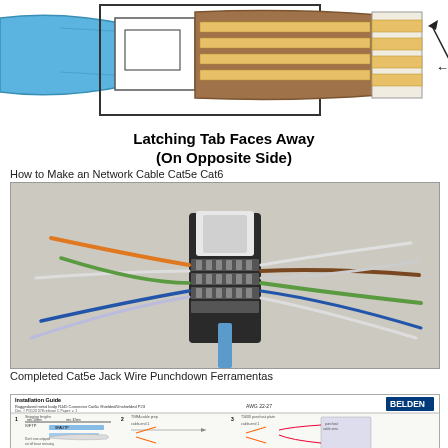[Figure (engineering-diagram): RJ45 connector diagram showing pin 8 label and latching tab orientation, with blue cable housing and orange/brown wire pair visible]
Latching Tab Faces Away
(On Opposite Side)
How to Make an Network Cable Cat5e Cat6
[Figure (photo): Completed Cat5e Jack Wire Punchdown photo showing patch panel connector with multiple colored wires fanned out: orange, white-orange, blue, white-blue, green, white-green, brown, white-brown]
Completed Cat5e Jack Wire Punchdown Ferramentas
[Figure (engineering-diagram): Belden Installation Guide - Ruggedized metal body RJ45 Connector Cat6a Shielded/Unshielded P23, AWG 22-27, showing stripping measurements and wire preparation steps including S/FTP and SFAUTP configurations]